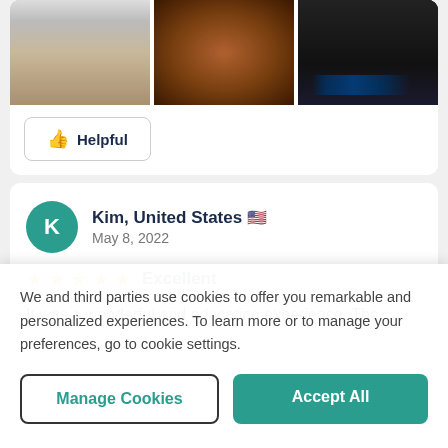[Figure (photo): Three photos of interior spaces: a hallway with white walls and wooden door, a museum exhibit with a ship's wheel, and a dark room with blue lighting.]
Helpful
Kim, United States 🇺🇸
May 8, 2022
★★★★★ Excellent
It was a wonderful and educating experience. The
We and third parties use cookies to offer you remarkable and personalized experiences. To learn more or to manage your preferences, go to cookie settings.
Manage Cookies
Accept All